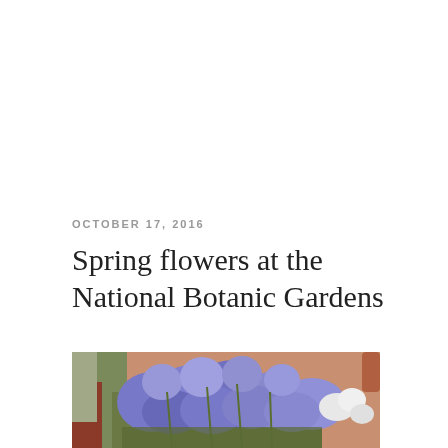OCTOBER 17, 2016
Spring flowers at the National Botanic Gardens
[Figure (photo): Photo of blue/purple spring flowers (lobelia or similar) in bloom at the National Botanic Gardens, with a terracotta-colored background and some white flowers and green foliage visible.]